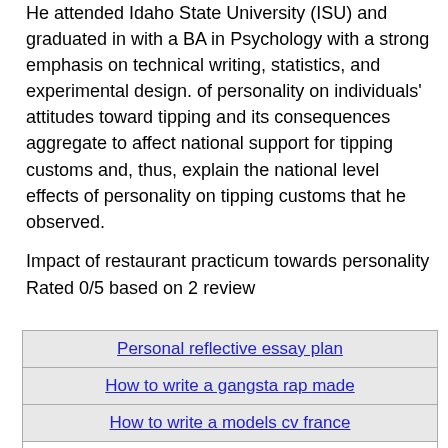He attended Idaho State University (ISU) and graduated in with a BA in Psychology with a strong emphasis on technical writing, statistics, and experimental design. of personality on individuals' attitudes toward tipping and its consequences aggregate to affect national support for tipping customs and, thus, explain the national level effects of personality on tipping customs that he observed.
Impact of restaurant practicum towards personality
Rated 0/5 based on 2 review
| Personal reflective essay plan |
| How to write a gangsta rap made |
| How to write a models cv france |
| A personal view of mankind in mark twains huckleberry finn |